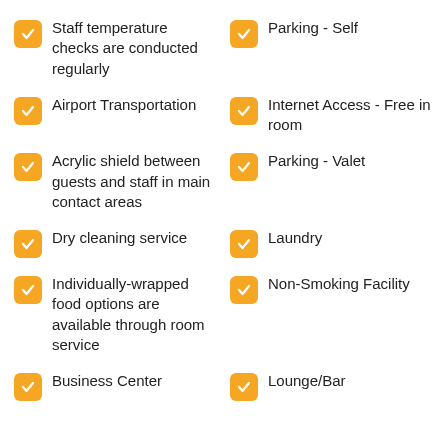Staff temperature checks are conducted regularly
Parking - Self
Airport Transportation
Internet Access - Free in room
Acrylic shield between guests and staff in main contact areas
Parking - Valet
Dry cleaning service
Laundry
Individually-wrapped food options are available through room service
Non-Smoking Facility
Business Center
Lounge/Bar